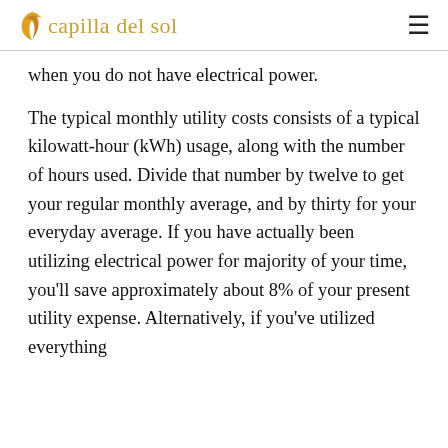capilla del sol
when you do not have electrical power.

The typical monthly utility costs consists of a typical kilowatt-hour (kWh) usage, along with the number of hours used. Divide that number by twelve to get your regular monthly average, and by thirty for your everyday average. If you have actually been utilizing electrical power for majority of your time, you’ll save approximately about 8% of your present utility expense. Alternatively, if you’ve utilized everything